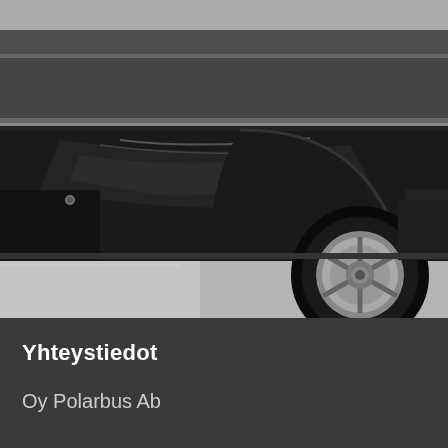[Figure (photo): Black and white close-up photograph of a large luxury bus, showing the lower rear side panel with wheel arch, a large rear tire with chrome wheel, and reflective dark painted bodywork. Background shows trees and gravel ground.]
Yhteystiedot
Oy Polarbus Ab